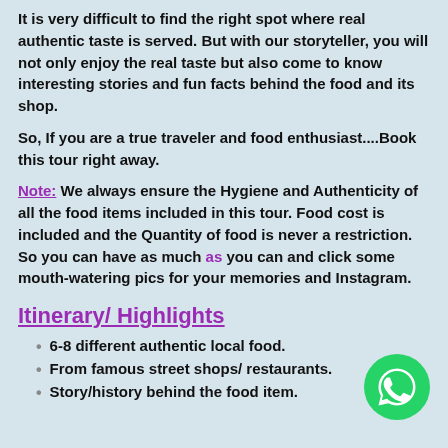It is very difficult to find the right spot where real authentic taste is served. But with our storyteller, you will not only enjoy the real taste but also come to know interesting stories and fun facts behind the food and its shop.
So, If you are a true traveler and food enthusiast....Book this tour right away.
Note: We always ensure the Hygiene and Authenticity of all the food items included in this tour. Food cost is included and the Quantity of food is never a restriction. So you can have as much as you can and click some mouth-watering pics for your memories and Instagram.
Itinerary/ Highlights
6-8 different authentic local food.
From famous street shops/ restaurants.
Story/history behind the food item.
[Figure (logo): WhatsApp green circular button icon]